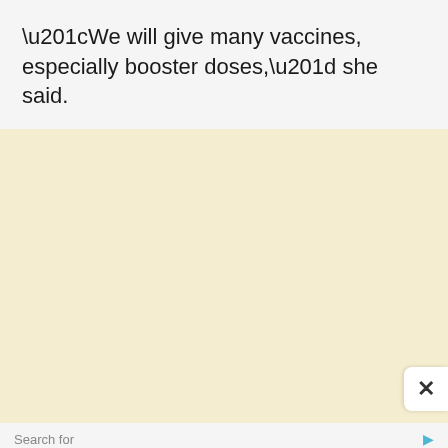“We will give many vaccines, especially booster doses,” she said.
[Figure (other): Large cream/beige colored empty advertisement placeholder area with a close (X) button in the bottom right corner]
Search for
VITAMINS FOR IMMUNE SYSTEM
Yahoo! Search | Sponsored